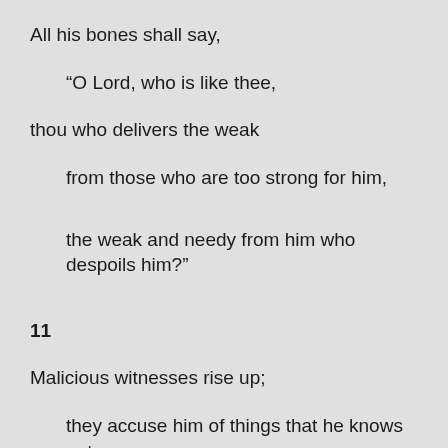All his bones shall say,
“O Lord, who is like thee,
thou who delivers the weak
from those who are too strong for him,
the weak and needy from him who despoils him?”
11
Malicious witnesses rise up;
they accuse him of things that he knows not.
12
They requite him evil for good,